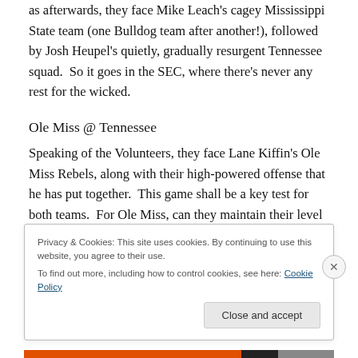as afterwards, they face Mike Leach's cagey Mississippi State team (one Bulldog team after another!), followed by Josh Heupel's quietly, gradually resurgent Tennessee squad.  So it goes in the SEC, where there's never any rest for the wicked.
Ole Miss @ Tennessee
Speaking of the Volunteers, they face Lane Kiffin's Ole Miss Rebels, along with their high-powered offense that he has put together.  This game shall be a key test for both teams.  For Ole Miss, can they maintain their level of
Privacy & Cookies: This site uses cookies. By continuing to use this website, you agree to their use.
To find out more, including how to control cookies, see here: Cookie Policy